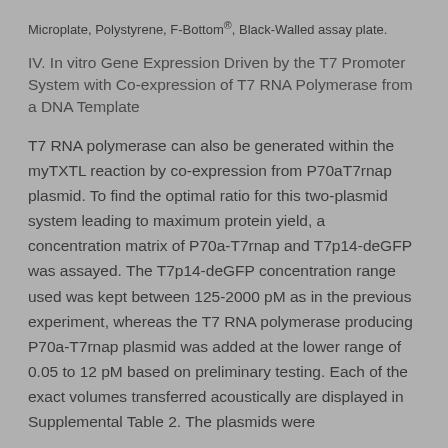Microplate, Polystyrene, F-Bottom®, Black-Walled assay plate.
IV. In vitro Gene Expression Driven by the T7 Promoter System with Co-expression of T7 RNA Polymerase from a DNA Template
T7 RNA polymerase can also be generated within the myTXTL reaction by co-expression from P70aT7rnap plasmid. To find the optimal ratio for this two-plasmid system leading to maximum protein yield, a concentration matrix of P70a-T7rnap and T7p14-deGFP was assayed. The T7p14-deGFP concentration range used was kept between 125-2000 pM as in the previous experiment, whereas the T7 RNA polymerase producing P70a-T7rnap plasmid was added at the lower range of 0.05 to 12 pM based on preliminary testing. Each of the exact volumes transferred acoustically are displayed in Supplemental Table 2. The plasmids were